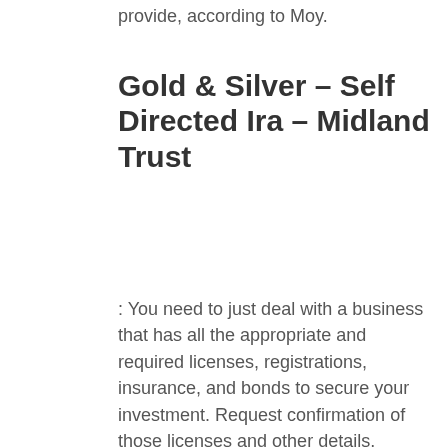provide, according to Moy.
Gold & Silver – Self Directed Ira – Midland Trust
: You need to just deal with a business that has all the appropriate and required licenses, registrations, insurance, and bonds to secure your investment. Request confirmation of those licenses and other details. Owning gold in a gold IRA does include some special expenses (Heera Gold Investment). The charges that a financier will face include::"Although gold has a going rate, there are markups depending